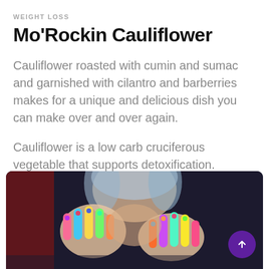WEIGHT LOSS
Mo'Rockin Cauliflower
Cauliflower roasted with cumin and sumac and garnished with cilantro and barberries makes for a unique and delicious dish you can make over and over again.
Cauliflower is a low carb cruciferous vegetable that supports detoxification.
CONTINUE READING →
[Figure (photo): Person with colorful painted hands covering their face against a dark background]